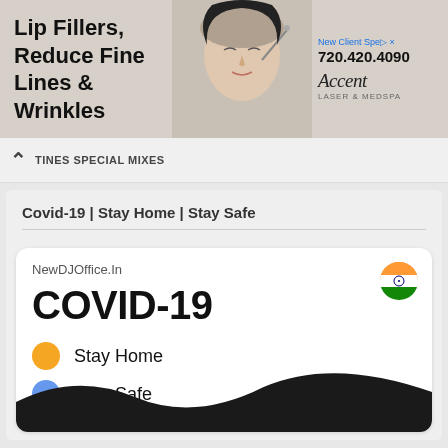[Figure (illustration): Advertisement banner for cosmetic services: 'Lip Fillers, Reduce Fine Lines & Wrinkles' with phone number 720.420.4090, brand name Accent, and image of a woman]
TINES SPECIAL MIXES
Covid-19 | Stay Home | Stay Safe
[Figure (infographic): NewDJOffice.In card with Indian flag icon, COVID-19 heading, and three bullet points: Stay Home (orange dot), Stay Safe (blue dot), Be Healthy (green dot), with dark wave design at bottom]
NewDJOffice.In
COVID-19
Stay Home
Stay Safe
Be Healthy